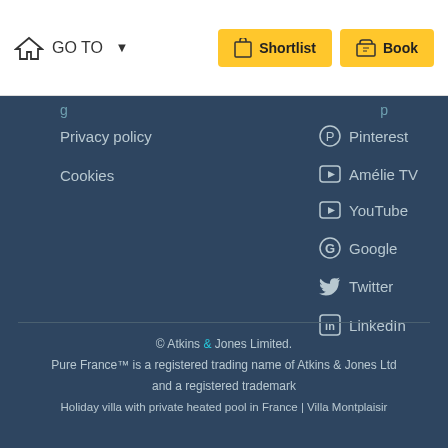GO TO ▾  |  Shortlist  |  Book
Privacy policy
Cookies
Pinterest
Amélie TV
YouTube
Google
Twitter
LinkedIn
© Atkins & Jones Limited. Pure France™ is a registered trading name of Atkins & Jones Ltd and a registered trademark Holiday villa with private heated pool in France | Villa Montplaisir